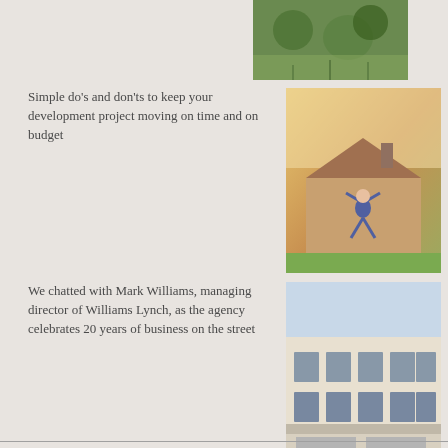[Figure (photo): Aerial view of a garden or green space with trees and pathways]
Simple do's and don'ts to keep your development project moving on time and on budget
[Figure (photo): Person jumping in the air in front of a house with a blue sky background]
We chatted with Mark Williams, managing director of Williams Lynch, as the agency celebrates 20 years of business on the street
[Figure (photo): Facade of a white commercial building on a street]
Mews houses off Bermondsey Street are few and far between
[Figure (photo): Modern mews building with glass and steel roof extensions and garages]
We recently met up with interior designer Jessica Olsson-Zabel to discuss urban interior styling
[Figure (photo): Blonde woman in a floral top and black jeans standing in front of wooden doors]